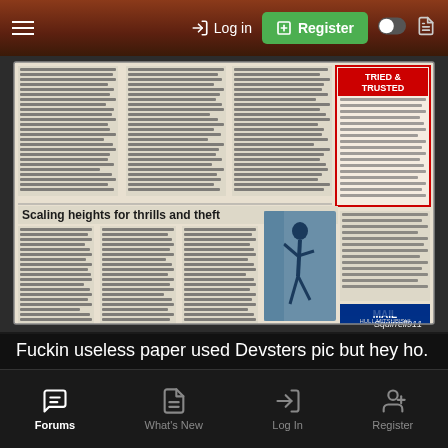Log in | Register
[Figure (photo): Newspaper article clipping showing a story titled 'Scaling heights for thrills and theft' with a photo of a person climbing. Includes a 'Tried & Trusted' advertisement and 'Squirrell911' watermark. Mail newspaper branding visible.]
Fuckin useless paper used Devsters pic but hey ho. Its a win,also laydeez, I am not married nor have children! 🤗
Forums | What's New | Log In | Register